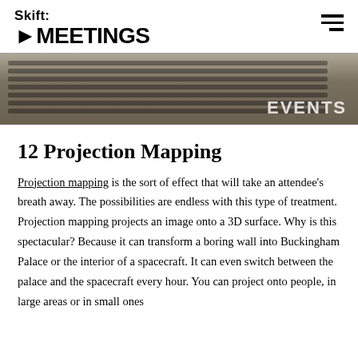Skift MEETINGS
[Figure (photo): Wide-angle photo of an event venue interior showing rows of black chairs/seats arranged in a large hall, with 'EVENTS' partially visible text overlay on the right side.]
12 Projection Mapping
Projection mapping is the sort of effect that will take an attendee's breath away. The possibilities are endless with this type of treatment. Projection mapping projects an image onto a 3D surface. Why is this spectacular? Because it can transform a boring wall into Buckingham Palace or the interior of a spacecraft. It can even switch between the palace and the spacecraft every hour. You can project onto people, in large areas or in small ones